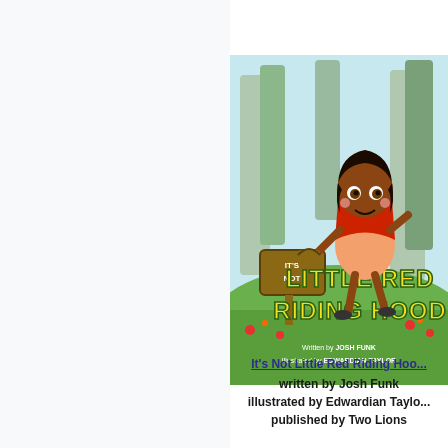[Figure (illustration): Book cover of 'It's Not Little Red Riding Hood' showing an animated girl in a red cape running through a forest, holding a basket. Large yellow text reads 'LITTLE RED RIDING HOOD' and a wooden sign says 'IT'S NOT'. Written by Josh Funk, Illustrated by Edwardian Taylor.]
It's Not Little Red Riding Hood
written by Josh Funk
illustrated by Edwardian Taylor
published by Two Lions